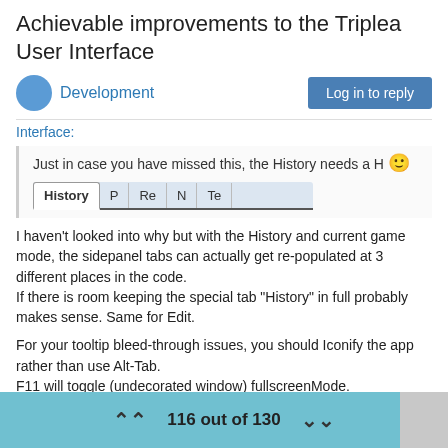Achievable improvements to the Triplea User Interface
Development
Log in to reply
Interface:
Just in case you have missed this, the History needs a H 🙂
[Figure (screenshot): Tab bar showing tabs: History, P, Re, N, Te]
I haven't looked into why but with the History and current game mode, the sidepanel tabs can actually get re-populated at 3 different places in the code.
If there is room keeping the special tab "History" in full probably makes sense. Same for Edit.

For your tooltip bleed-through issues, you should Iconify the app rather than use Alt-Tab.
F11 will toggle (undecorated window) fullscreenMode.
116 out of 130